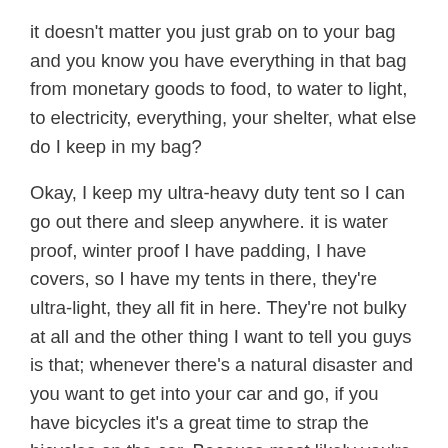it doesn't matter you just grab on to your bag and you know you have everything in that bag from monetary goods to food, to water to light, to electricity, everything, your shelter, what else do I keep in my bag?
Okay, I keep my ultra-heavy duty tent so I can go out there and sleep anywhere. it is water proof, winter proof I have padding, I have covers, so I have my tents in there, they're ultra-light, they all fit in here. They're not bulky at all and the other thing I want to tell you guys is that; whenever there's a natural disaster and you want to get into your car and go, if you have bicycles it's a great time to strap the bicycles on the car. Because most likely you're going to sit in traffic for a very very very very long time and you're going to run out of gas, and the best thing is to jump off on the bicycles and start pedaling because believe it or not when there is a lot of traffic, you're going to pass everybody and their momma in